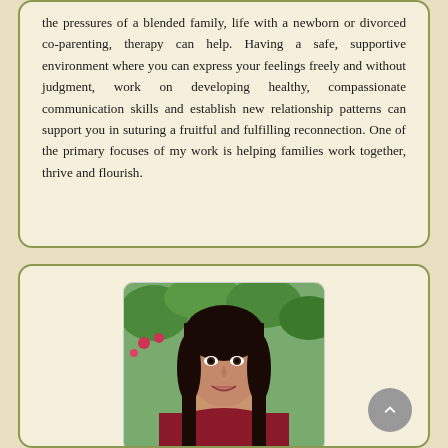the pressures of a blended family, life with a newborn or divorced co-parenting, therapy can help. Having a safe, supportive environment where you can express your feelings freely and without judgment, work on developing healthy, compassionate communication skills and establish new relationship patterns can support you in suturing a fruitful and fulfilling reconnection. One of the primary focuses of my work is helping families work together, thrive and flourish.
[Figure (photo): Portrait photo of a woman with dark hair, smiling, outdoors with green trees and flowers in background]